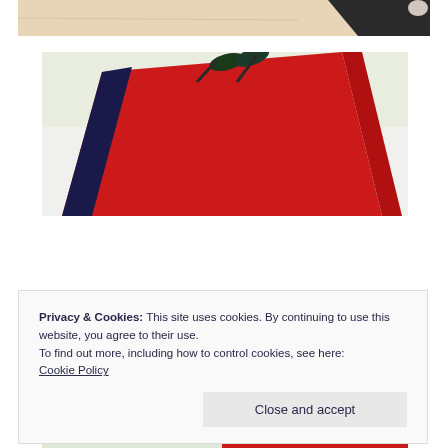[Figure (photo): Partial view of a desk scene with dark objects, appearing to be cropped from a larger photo]
[Figure (photo): A red book or folder with dark scissors resting on top, on a white surface]
Privacy & Cookies: This site uses cookies. By continuing to use this website, you agree to their use.
To find out more, including how to control cookies, see here: Cookie Policy
Close and accept
[Figure (photo): Bottom portion of another photo showing red and colorful objects, partially visible]